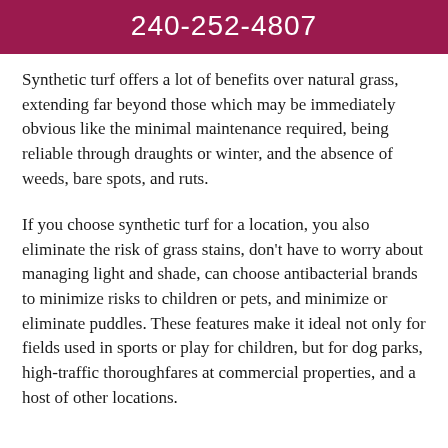240-252-4807
Synthetic turf offers a lot of benefits over natural grass, extending far beyond those which may be immediately obvious like the minimal maintenance required, being reliable through draughts or winter, and the absence of weeds, bare spots, and ruts.
If you choose synthetic turf for a location, you also eliminate the risk of grass stains, don't have to worry about managing light and shade, can choose antibacterial brands to minimize risks to children or pets, and minimize or eliminate puddles. These features make it ideal not only for fields used in sports or play for children, but for dog parks, high-traffic thoroughfares at commercial properties, and a host of other locations.